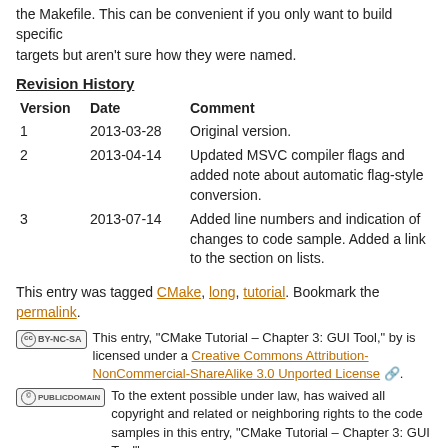the Makefile. This can be convenient if you only want to build specific targets but aren't sure how they were named.
Revision History
| Version | Date | Comment |
| --- | --- | --- |
| 1 | 2013-03-28 | Original version. |
| 2 | 2013-04-14 | Updated MSVC compiler flags and added note about automatic flag-style conversion. |
| 3 | 2013-07-14 | Added line numbers and indication of changes to code sample. Added a link to the section on lists. |
This entry was tagged CMake, long, tutorial. Bookmark the permalink.
This entry, "CMake Tutorial – Chapter 3: GUI Tool," by is licensed under a Creative Commons Attribution-NonCommercial-ShareAlike 3.0 Unported License. To the extent possible under law, has waived all copyright and related or neighboring rights to the code samples in this entry, "CMake Tutorial – Chapter 3: GUI Tool".